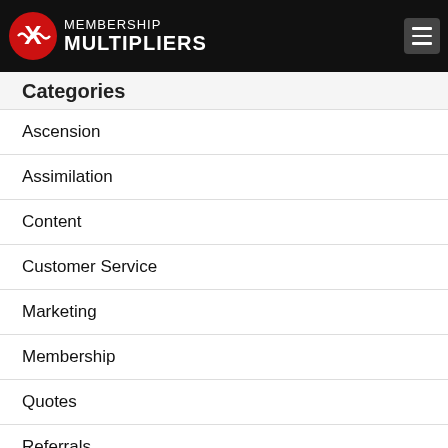Membership Multipliers
Categories
Ascension
Assimilation
Content
Customer Service
Marketing
Membership
Quotes
Referrals